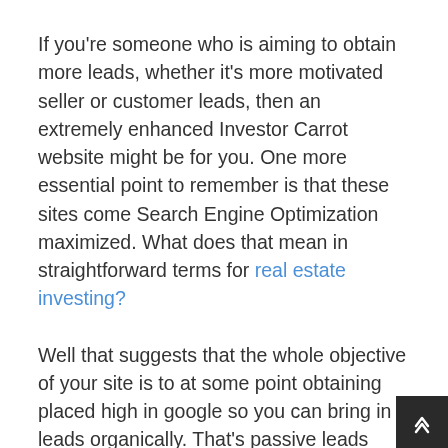If you're someone who is aiming to obtain more leads, whether it's more motivated seller or customer leads, then an extremely enhanced Investor Carrot website might be for you. One more essential point to remember is that these sites come Search Engine Optimization maximized. What does that mean in straightforward terms for real estate investing?
Well that suggests that the whole objective of your site is to at some point obtaining placed high in google so you can bring in leads organically. That's passive leads involving YOU!
However this does not take place over night … If you're the sort of individual who assumes they'll place day 1 then that's probably not going to occu SEO is a long-term video game and when done right